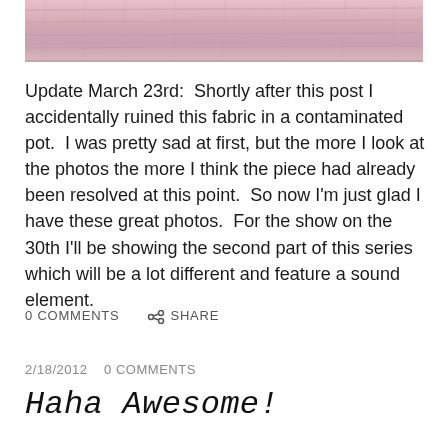[Figure (photo): Partial view of pink/mauve fabric texture at top of page]
Update March 23rd:  Shortly after this post I accidentally ruined this fabric in a contaminated pot.  I was pretty sad at first, but the more I look at the photos the more I think the piece had already been resolved at this point.  So now I'm just glad I have these great photos.  For the show on the 30th I'll be showing the second part of this series which will be a lot different and feature a sound element.
0 COMMENTS    SHARE
2/18/2012    0 COMMENTS
Haha Awesome!